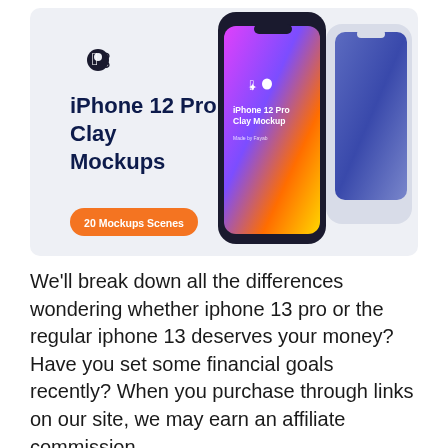[Figure (illustration): iPhone 12 Pro Clay Mockups promotional image showing two iPhones with colorful gradient wallpapers on a light gray background. Left side shows Apple logo, bold text 'iPhone 12 Pro Clay Mockups', and an orange pill button reading '20 Mockups Scenes'. Right side shows two phone mockups with vibrant pink/purple/orange gradients and text 'iPhone 12 Pro Clay Mockup, Made by Fayab'.]
We'll break down all the differences wondering whether iphone 13 pro or the regular iphone 13 deserves your money? Have you set some financial goals recently? When you purchase through links on our site, we may earn an affiliate commission.